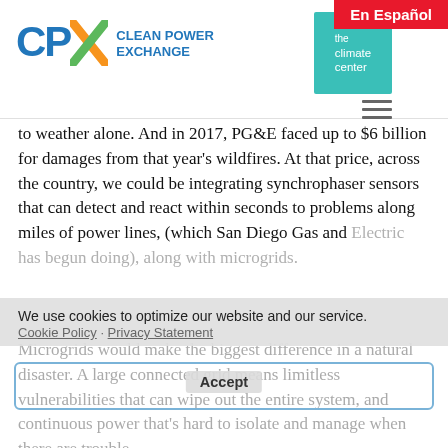En Español
[Figure (logo): CPX Clean Power Exchange logo with blue letters and multicolor X, alongside The Climate Center teal logo]
to weather alone. And in 2017, PG&E faced up to $6 billion for damages from that year's wildfires. At that price, across the country, we could be integrating synchrophaser sensors that can detect and react within seconds to problems along miles of power lines, (which San Diego Gas and Electric has begun doing), along with microgrids. Microgrids would make the biggest difference in a natural disaster. A large connected grid means limitless vulnerabilities that can wipe out the entire system, and continuous power that's hard to isolate and manage when there are trouble
We use cookies to optimize our website and our service. Cookie Policy · Privacy Statement
Accept